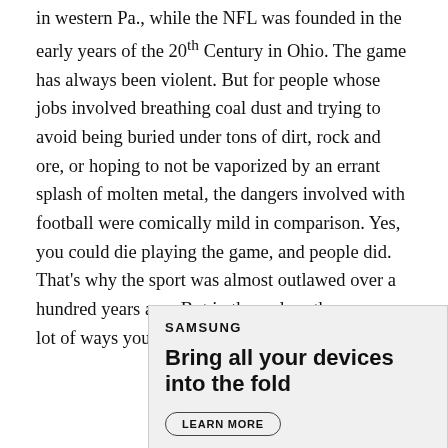in western Pa., while the NFL was founded in the early years of the 20th Century in Ohio. The game has always been violent. But for people whose jobs involved breathing coal dust and trying to avoid being buried under tons of dirt, rock and ore, or hoping to not be vaporized by an errant splash of molten metal, the dangers involved with football were comically mild in comparison. Yes, you could die playing the game, and people did. That's why the sport was almost outlawed over a hundred years ago. But in those days there were a lot of ways you could expire.
[Figure (other): Samsung advertisement with text 'Bring all your devices into the fold' and a LEARN MORE button]